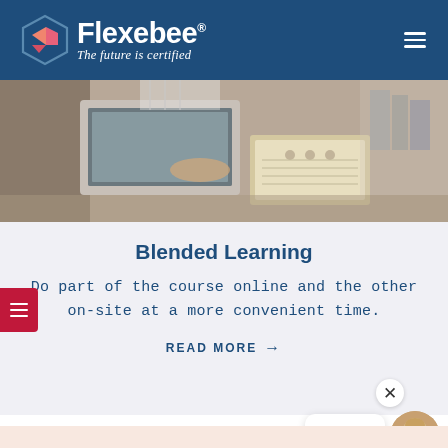[Figure (logo): Flexebee logo with colorful diamond/arrow icon and tagline 'The future is certified' on dark blue background header]
[Figure (photo): Person studying with laptop and open binder/notebook on a desk]
Blended Learning
Do part of the course online and the other on-site at a more convenient time.
READ MORE →